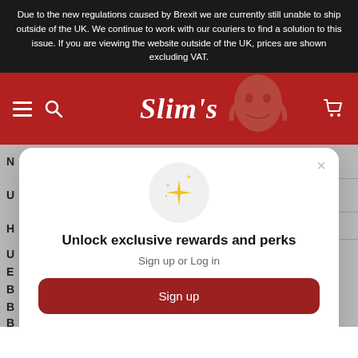Due to the new regulations caused by Brexit we are currently still unable to ship outside of the UK. We continue to work with our couriers to find a solution to this issue. If you are viewing the website outside of the UK, prices are shown excluding VAT.
[Figure (screenshot): Slim's website navigation header with red background, hamburger menu, search icon, Slim's script logo, decorative face illustration, and cart icon]
Unlock exclusive rewards and perks
Sign up or Log in
Sign up
Already have an account? Sign in